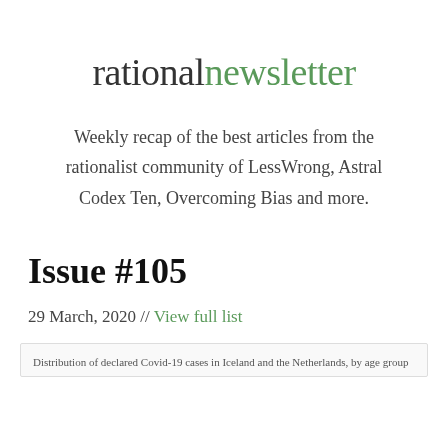rationalnewsletter
Weekly recap of the best articles from the rationalist community of LessWrong, Astral Codex Ten, Overcoming Bias and more.
Issue #105
29 March, 2020 // View full list
Distribution of declared Covid-19 cases in Iceland and the Netherlands, by age group